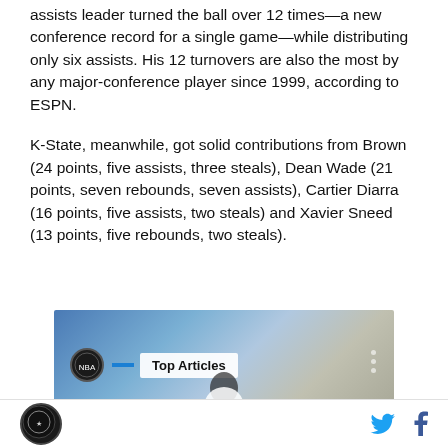assists leader turned the ball over 12 times—a new conference record for a single game—while distributing only six assists. His 12 turnovers are also the most by any major-conference player since 1999, according to ESPN.
K-State, meanwhile, got solid contributions from Brown (24 points, five assists, three steals), Dean Wade (21 points, seven rebounds, seven assists), Cartier Diarra (16 points, five assists, two steals) and Xavier Sneed (13 points, five rebounds, two steals).
[Figure (screenshot): Screenshot of a video player thumbnail with NBA logo, a 'Top Articles' badge, and a person silhouette at the bottom center with a play button.]
Site logo icon | Twitter and Facebook social share icons